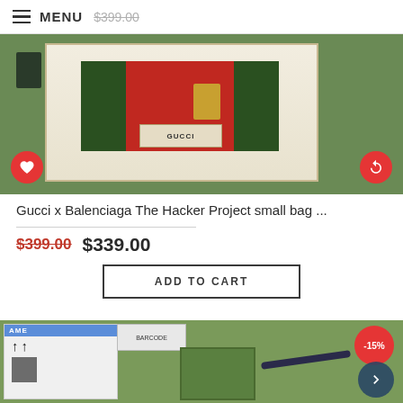MENU $399.00
[Figure (photo): Gucci x Balenciaga The Hacker Project small bag in green and red leather, shown in a green gift box with Gucci authentication label. Heart and refresh circular buttons visible.]
Gucci x Balenciaga The Hacker Project small bag ...
$399.00  $339.00
ADD TO CART
[Figure (photo): Second product listing showing a bag with shipping label marked SAME, QR code, blue strap, and green Gucci box. -15% badge visible in top right. Navigation arrow button at bottom right.]